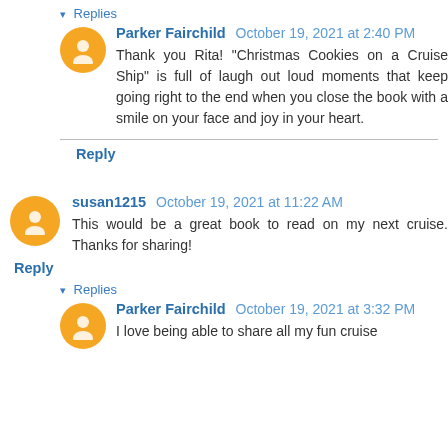▾ Replies
Parker Fairchild October 19, 2021 at 2:40 PM
Thank you Rita! "Christmas Cookies on a Cruise Ship" is full of laugh out loud moments that keep going right to the end when you close the book with a smile on your face and joy in your heart.
Reply
susan1215 October 19, 2021 at 11:22 AM
This would be a great book to read on my next cruise. Thanks for sharing!
Reply
▾ Replies
Parker Fairchild October 19, 2021 at 3:32 PM
I love being able to share all my fun cruise